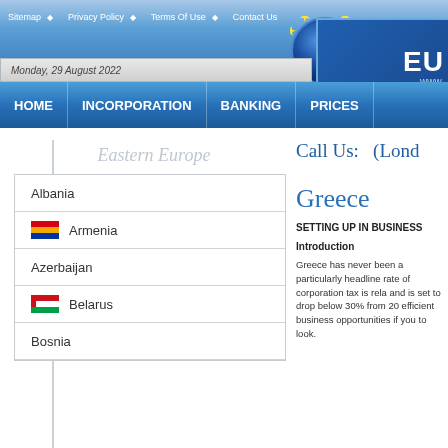Sitemap • Privacy Policy • Terms Of Use • Contact Us
Monday, 29 August 2022
[Figure (logo): EU logo with circular yellow stars on blue globe and EU text label]
HOME  INCORPORATION  BANKING  PRICES
Eastern Europe
Albania
Armenia
Azerbaijan
Belarus
Bosnia
Call Us:   (Lond
Greece
SETTING UP IN BUSINESS
Introduction
Greece has never been a particularly headline rate of corporation tax is rela and is set to drop below 30% from 20 efficient business opportunities if you to look.